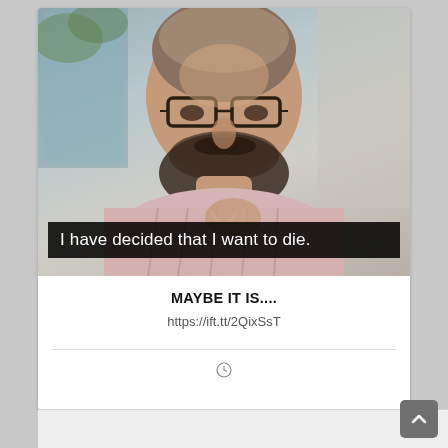[Figure (screenshot): Video still of a bearded man with glasses wearing a striped pink/white shirt, with a subtitle bar reading 'I have decided that I want to die.']
I have decided that I want to die.
MAYBE IT IS....
https://ift.tt/2QixSsT